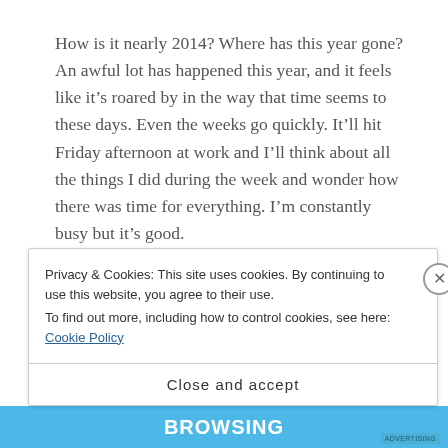How is it nearly 2014? Where has this year gone? An awful lot has happened this year, and it feels like it's roared by in the way that time seems to these days. Even the weeks go quickly. It'll hit Friday afternoon at work and I'll think about all the things I did during the week and wonder how there was time for everything. I'm constantly busy but it's good.
The biggest thing to happen this year was obviously graduating from UCL. It came months after I had
Privacy & Cookies: This site uses cookies. By continuing to use this website, you agree to their use.
To find out more, including how to control cookies, see here: Cookie Policy
Close and accept